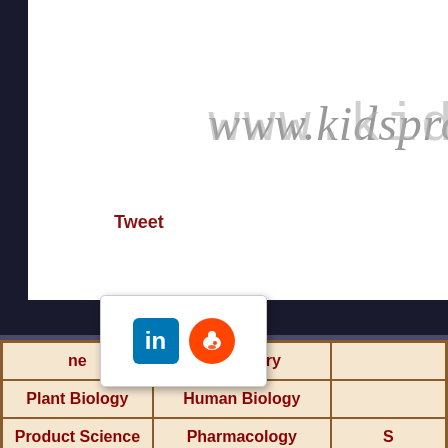[Figure (screenshot): Website header with stylized logo text 'www.kidspro...' in decorative font on white background]
Tweet
[Figure (infographic): Social sharing popup with LinkedIn and Reddit icons]
| ne | Chemistry |  |
| Plant Biology | Human Biology |  |
| Product Science | Pharmacology | S |
Does Calcium Strengthen Egg...